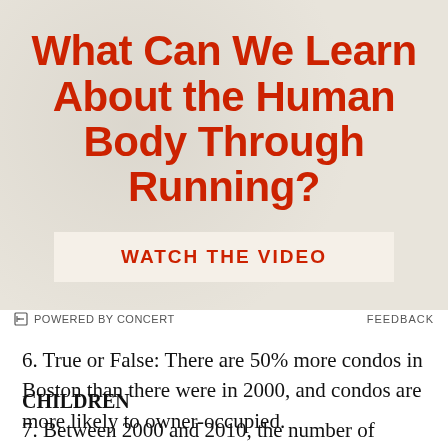[Figure (infographic): Advertisement banner with textured beige background showing title 'What Can We Learn About the Human Body Through Running?' in bold red text, with a 'WATCH THE VIDEO' button below]
POWERED BY CONCERT   FEEDBACK
6. True or False: There are 50% more condos in Boston than there were in 2000, and condos are more likely to owner-occupied.
CHILDREN
7. Between 2000 and 2010, the number of children under age 18,